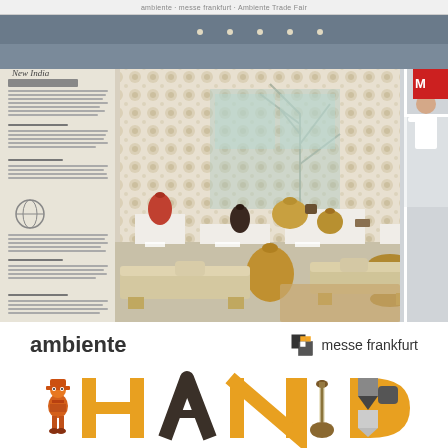ambiente | messe frankfurt
[Figure (photo): Exhibition booth photo showing an Indian craft display 'New India' at Ambiente trade fair. The booth features an ornate lattice/screen backdrop with floral and decorative patterns in cream and gold. Various craft objects are displayed on white pedestals including vases, brass pots, golden vessels, ceramic pieces. Two wooden bench/daybed furniture pieces are in the foreground. A person in white shirt is visible on the right side behind a white railing.]
ambiente
[Figure (logo): Messe Frankfurt logo: a stylized icon of two overlapping squares (one dark/filled) followed by the text 'messe frankfurt']
[Figure (photo): Bottom partial image showing large colorful letters spelling 'HAND' with craft objects between letters - a decorative figurine (like a toy character), a dark metal arch/stool shape, a musical instrument (sitar-like), and geometric patterned letters. The letters are in yellow/gold color.]